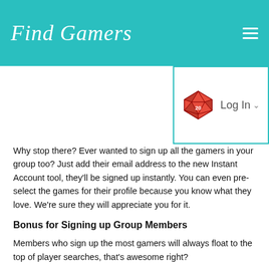Find Gamers
[Figure (other): Login dropdown with red d20 dice icon and 'Log In' text with caret]
Why stop there?  Ever wanted to sign up all the gamers in your group too?  Just add their email address to the new Instant Account tool, they'll be signed up instantly.  You can even pre-select the games for their profile because you know what they love.  We're sure they will appreciate you for it.
Bonus for Signing up Group Members
Members who sign up the most gamers will always float to the top of player searches, that's awesome right?
Woot! Woot!
We think you'll love these coming features as much as we do!  Tell your friends.